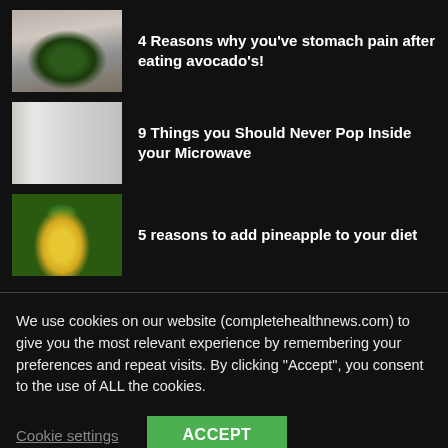[Figure (photo): Thumbnail of a person holding a halved avocado]
4 Reasons why you’ve stomach pain after eating avocado’s!
[Figure (photo): Thumbnail of a white microwave oven]
9 Things you Should Never Pop Inside your Microwave
[Figure (photo): Thumbnail of a pineapple with sliced pieces on a wooden board]
5 reasons to add pineapple to your diet
We use cookies on our website (completehealthnews.com) to give you the most relevant experience by remembering your preferences and repeat visits. By clicking “Accept”, you consent to the use of ALL the cookies.
Cookie settings  ACCEPT